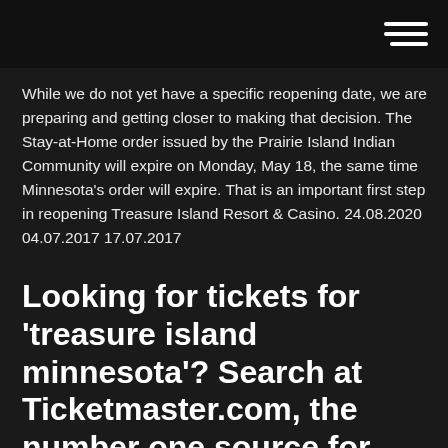While we do not yet have a specific reopening date, we are preparing and getting closer to making that decision. The Stay-at-Home order issued by the Prairie Island Indian Community will expire on Monday, May 18, the same time Minnesota's order will expire. That is an important first step in reopening Treasure Island Resort & Casino. 24.08.2020 04.07.2017 17.07.2017
Looking for tickets for 'treasure island minnesota'? Search at Ticketmaster.com, the number one source for concerts, sports, arts, theater, theatre, broadway